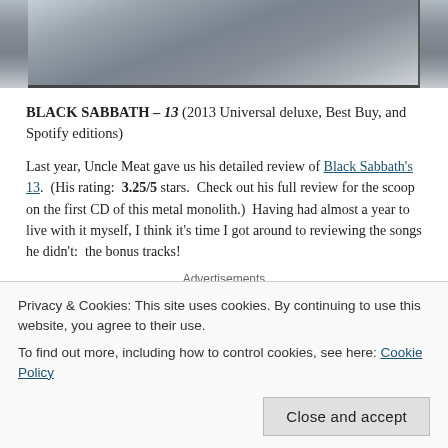[Figure (photo): Close-up photo of a metallic silver/gray surface, appears to be an album cover or metallic object with reflective surface and dark border edges visible]
BLACK SABBATH – 13 (2013 Universal deluxe, Best Buy, and Spotify editions)
Last year, Uncle Meat gave us his detailed review of Black Sabbath's 13. (His rating: 3.25/5 stars. Check out his full review for the scoop on the first CD of this metal monolith.) Having had almost a year to live with it myself, I think it's time I got around to reviewing the songs he didn't: the bonus tracks!
Advertisements
Privacy & Cookies: This site uses cookies. By continuing to use this website, you agree to their use.
To find out more, including how to control cookies, see here: Cookie Policy
Mind," and "Pariah." "Methademic" is cool for being a fast-paced